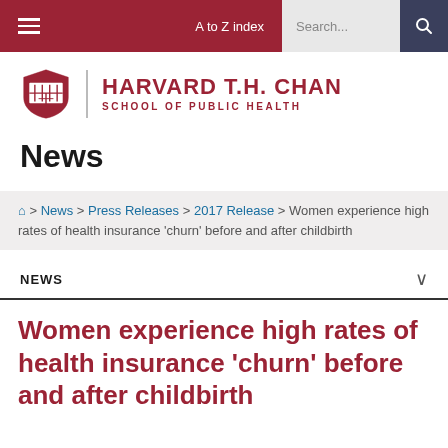Harvard T.H. Chan School of Public Health – Navigation bar with A to Z index and Search
[Figure (logo): Harvard T.H. Chan School of Public Health logo with shield and text]
News
Home > News > Press Releases > 2017 Release > Women experience high rates of health insurance 'churn' before and after childbirth
NEWS
Women experience high rates of health insurance 'churn' before and after childbirth